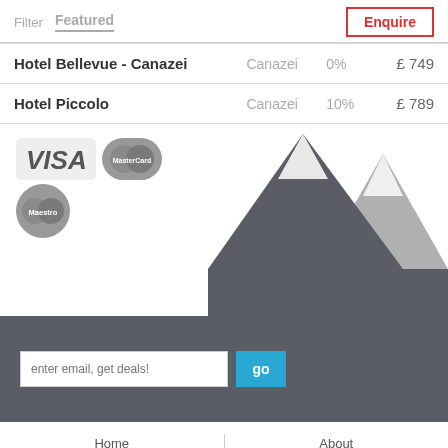Filter  Featured  Enquire
| Hotel | Location | Discount | Price |
| --- | --- | --- | --- |
| Hotel Bellevue - Canazei | Canazei | 0% | £ 749 |
| Hotel Piccolo | Canazei | 10% | £ 789 |
[Figure (logo): Payment logos: VISA, MasterCard, Maestro]
[Figure (illustration): Mountain silhouette illustration in dark grey and light grey against white background]
enter email, get deals!
go
Home  Contact  Internshing... | About  Careers  Privacy...